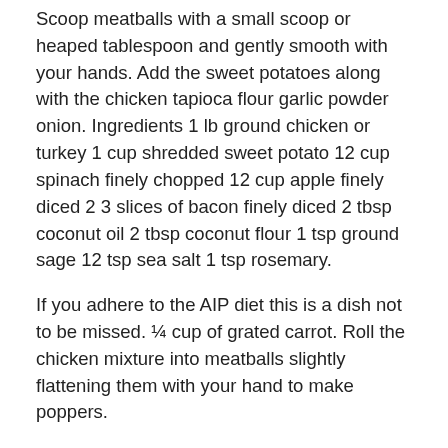Scoop meatballs with a small scoop or heaped tablespoon and gently smooth with your hands. Add the sweet potatoes along with the chicken tapioca flour garlic powder onion. Ingredients 1 lb ground chicken or turkey 1 cup shredded sweet potato 12 cup spinach finely chopped 12 cup apple finely diced 2 3 slices of bacon finely diced 2 tbsp coconut oil 2 tbsp coconut flour 1 tsp ground sage 12 tsp sea salt 1 tsp rosemary.
If you adhere to the AIP diet this is a dish not to be missed. ¼ cup of grated carrot. Roll the chicken mixture into meatballs slightly flattening them with your hand to make poppers.
1 tablespoon coconut oil. For AIP see the below option instead. These AIP Chicken recipes are family friendly and easy enough for weeknights but delicious enough any night of the week.
Place the poppers in the oven for 25-28 minutes flipping halfway through. Mix the milk and lemon juice together in a small bowl and set the bowl aside for about 10 minutes so the milk can curdle. If youre looking for a great AIP appetizer or finger food that has.
Add pork pankoground pork rinds to a large bowl and dip each